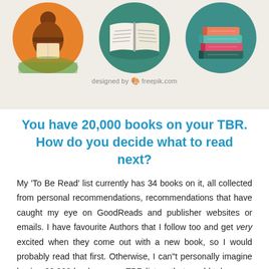[Figure (illustration): Three circular flat-design icons on a beige background: a person reading outdoors (orange/brown tones), an open book (teal/green tones), and a stack of books (teal/red/pink tones). Credit text reads 'designed by freepik.com']
You have 20,000 books on your TBR. How do you decide what to read next?
My ‘To Be Read’ list currently has 34 books on it, all collected from personal recommendations, recommendations that have caught my eye on GoodReads and publisher websites or emails. I have favourite Authors that I follow too and get very excited when they come out with a new book, so I would probably read that first. Otherwise, I can“t personally imagine having 20,000 books on my TBR list as that would take away the joy of reading for me, it would feel more like a task I needed to